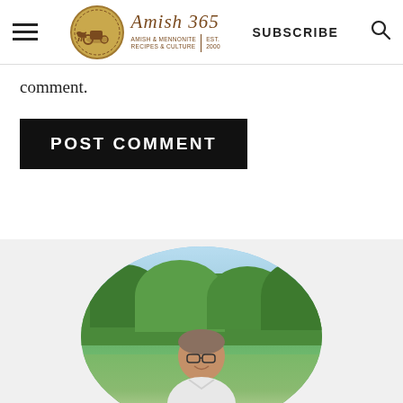Amish 365 — Amish & Mennonite Recipes & Culture | Est. 2000 | SUBSCRIBE
comment.
POST COMMENT
[Figure (photo): Photo of a man with glasses smiling outdoors with green trees in the background, shown in an oval crop.]